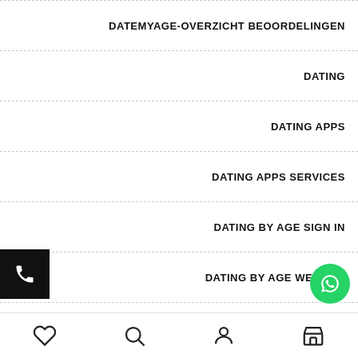DATEMYAGE-OVERZICHT BEOORDELINGEN
DATING
DATING APPS
DATING APPS SERVICES
DATING BY AGE SIGN IN
DATING BY AGE WEBSITE
DATING IN YOUR ٣٠S DATING
DATING IN YOUR ٣٠S SITES
♡  🔍  👤  🏪